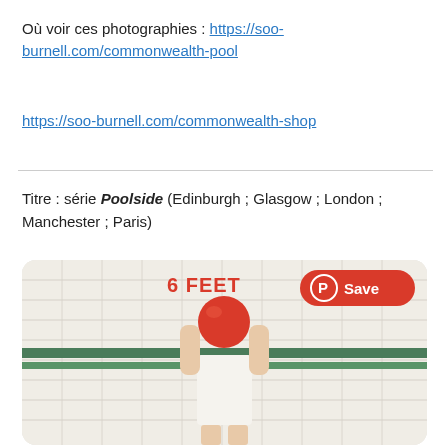Où voir ces photographies : https://soo-burnell.com/commonwealth-pool
https://soo-burnell.com/commonwealth-shop
Titre : série Poolside (Edinburgh ; Glasgow ; London ; Manchester ; Paris)
[Figure (photo): A person in a white swimsuit holding a red ball against their face, standing in front of a white tiled pool wall with green stripe. A Pinterest 'Save' badge and '6 FEET' text overlay appear on the image.]